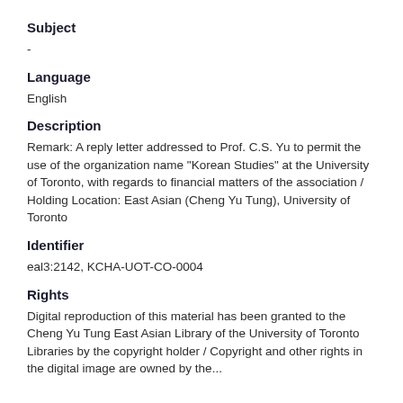Subject
-
Language
English
Description
Remark: A reply letter addressed to Prof. C.S. Yu to permit the use of the organization name "Korean Studies" at the University of Toronto, with regards to financial matters of the association / Holding Location: East Asian (Cheng Yu Tung), University of Toronto
Identifier
eal3:2142, KCHA-UOT-CO-0004
Rights
Digital reproduction of this material has been granted to the Cheng Yu Tung East Asian Library of the University of Toronto Libraries by the copyright holder / Copyright and other rights in the digital image are owned by the...